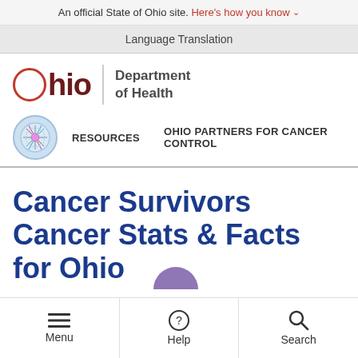An official State of Ohio site. Here's how you know ∨
Language Translation
[Figure (logo): Ohio Department of Health logo with red circle O, bold Ohio text, and Department of Health text]
RESOURCES   OHIO PARTNERS FOR CANCER CONTROL
Cancer Survivors Cancer Stats & Facts for Ohio
Menu  Help  Search